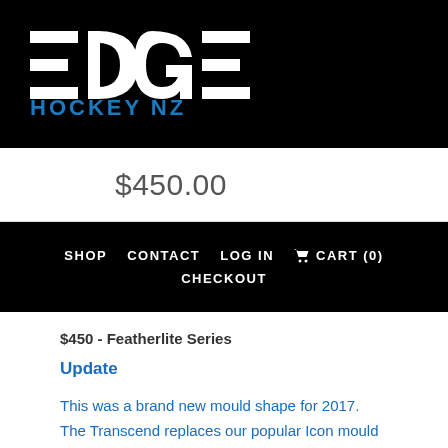EDGE HOCKEY NZ
$450.00
SHOP   CONTACT   LOG IN   CART (0)   CHECKOUT
$450 - Featherlite Series
Update
This was a brand new mould shape for 2017. The Transcend replaces our popular Icon mould and incorporates a range of construction types